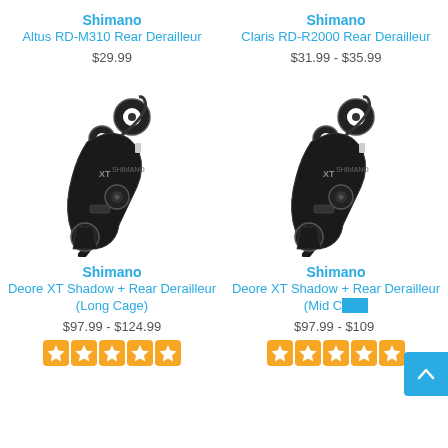Shimano
Altus RD-M310 Rear Derailleur
$29.99
Shimano
Claris RD-R2000 Rear Derailleur
$31.99 - $35.99
[Figure (photo): Shimano Deore XT Shadow + Rear Derailleur (Long Cage) - black derailleur product photo]
Shimano
Deore XT Shadow + Rear Derailleur (Long Cage)
$97.99 - $124.99
[Figure (photo): Shimano Deore XT Shadow + Rear Derailleur (Mid Cage) - black derailleur product photo]
Shimano
Deore XT Shadow + Rear Derailleur (Mid Cage)
$97.99 - $109